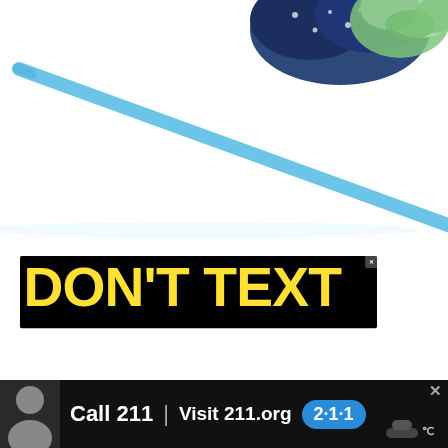[Figure (photo): Product photo showing a blue plastic bodkin/threading tool and a navy blue floral fabric scrunchie on a white background]
[Figure (infographic): Advertisement banner on black background with yellow bold text 'DON'T TEXT' and cyan bold text 'AND' with a red cartoon car emoji, public safety texting-and-driving message]
[Figure (infographic): Bottom banner advertisement with dark background, person's photo on left, text 'Call 211 | Visit 211.org' with blue 2·1·1 badge logo]